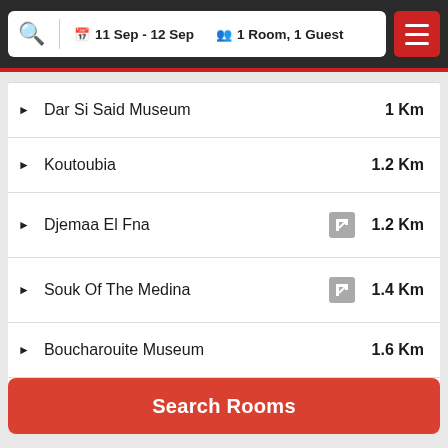11 Sep - 12 Sep | 1 Room, 1 Guest
Dar Si Said Museum — 1 Km
Koutoubia — 1.2 Km
Djemaa El Fna — 1.2 Km
Souk Of The Medina — 1.4 Km
Boucharouite Museum — 1.6 Km
Cyber Park — 1.6 Km
Search Rooms